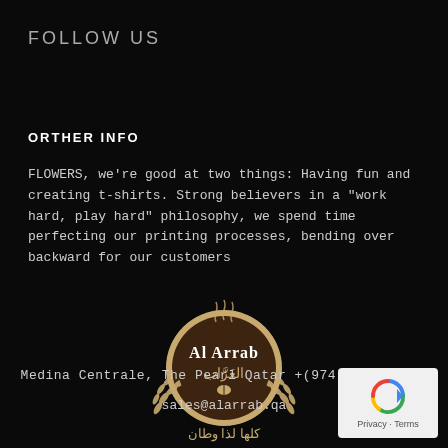FOLLOW US
ORTHER INFO
FLOWERS, we're good at two things: Having fun and creating t-shirts. Strong believers in a "work hard, play hard" philosophy, we spend time perfecting our printing processes, bending over backward for our customers
[Figure (logo): Al Arrab coffee shop circular seal logo with Arabic text, laurel wreath decoration, and Arabic calligraphy beneath]
Medina Centrale, The Pearl Qatar  +(974) 400-13003
sales@alarrab.qa
[Figure (other): Google reCAPTCHA widget with Privacy and Terms links]